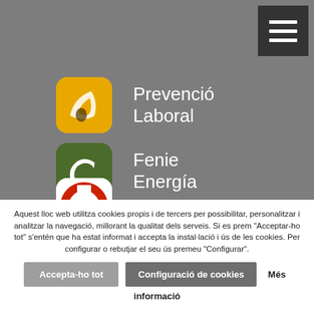[Figure (logo): Hamburger menu icon (three white horizontal lines on dark grey square background), top right corner]
Prevenció Laboral
Fenie Energía
Nedgia
Aquest lloc web utilitza cookies propis i de tercers per possibilitar, personalitzar i analitzar la navegació, millorant la qualitat dels serveis. Si es prem "Acceptar-ho tot" s'entén que ha estat informat i accepta la instal·lació i ús de les cookies. Per configurar o rebutjar el seu ús premeu "Configurar".
Accepta-ho tot   Configuració de cookies   Més informació